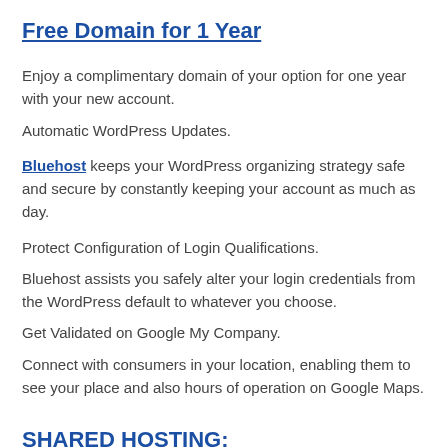Free Domain for 1 Year
Enjoy a complimentary domain of your option for one year with your new account.
Automatic WordPress Updates.
Bluehost keeps your WordPress organizing strategy safe and secure by constantly keeping your account as much as day.
Protect Configuration of Login Qualifications.
Bluehost assists you safely alter your login credentials from the WordPress default to whatever you choose.
Get Validated on Google My Company.
Connect with consumers in your location, enabling them to see your place and also hours of operation on Google Maps.
SHARED HOSTING: